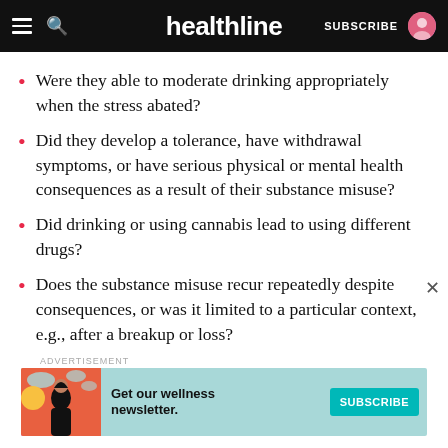healthline — SUBSCRIBE
Were they able to moderate drinking appropriately when the stress abated?
Did they develop a tolerance, have withdrawal symptoms, or have serious physical or mental health consequences as a result of their substance misuse?
Did drinking or using cannabis lead to using different drugs?
Does the substance misuse recur repeatedly despite consequences, or was it limited to a particular context, e.g., after a breakup or loss?
[Figure (illustration): Advertisement banner for Healthline wellness newsletter with illustrated woman and teal Subscribe button]